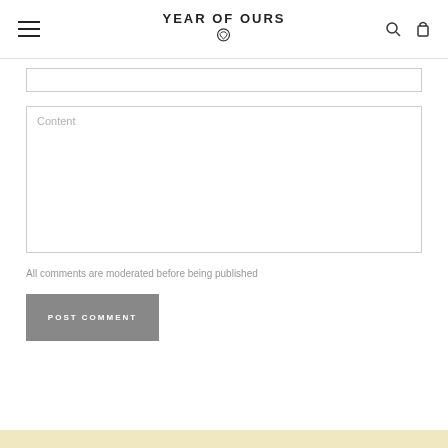YEAR OF OURS
Content
All comments are moderated before being published
POST COMMENT